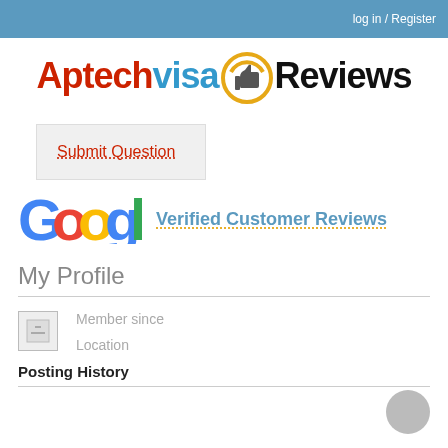log in / Register
[Figure (logo): Aptechvisa Reviews logo with thumbs up icon in orange circle]
Submit Question
[Figure (logo): Google logo (partial) with Verified Customer Reviews text]
My Profile
[Figure (photo): Profile image placeholder icon]
Member since
Location
Posting History